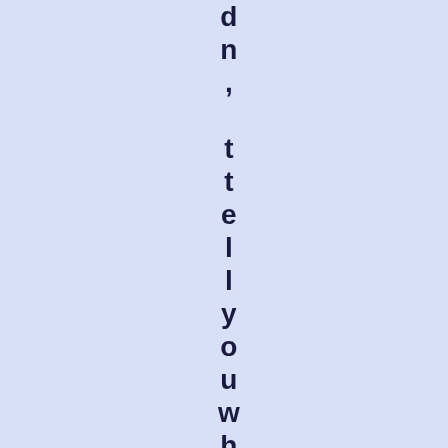dn, tellyou whoanyone oneis thoug